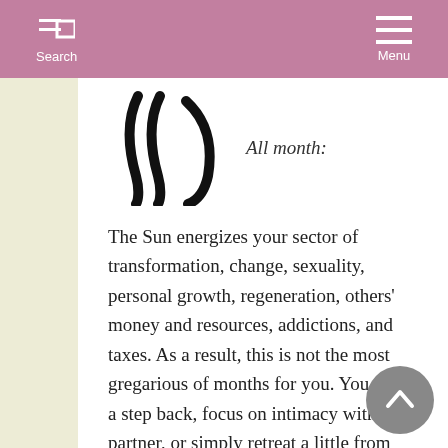Search   Menu
[Figure (illustration): Scorpio or astrological symbol made of curved lines resembling stylized letters W or M with curved tails, in black on white background]
All month:
The Sun energizes your sector of transformation, change, sexuality, personal growth, regeneration, others' money and resources, addictions, and taxes. As a result, this is not the most gregarious of months for you. You take a step back, focus on intimacy with a partner, or simply retreat a little from the hectic pace of life. This is an excellent time to create a budget or financial plan,